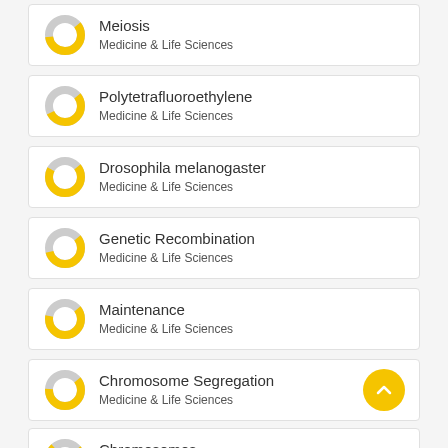Meiosis | Medicine & Life Sciences
Polytetrafluoroethylene | Medicine & Life Sciences
Drosophila melanogaster | Medicine & Life Sciences
Genetic Recombination | Medicine & Life Sciences
Maintenance | Medicine & Life Sciences
Chromosome Segregation | Medicine & Life Sciences
Chromosomes | Medicine & Life Sciences